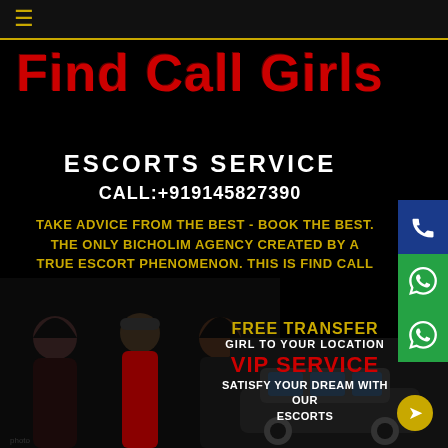☰ (hamburger menu icon)
Find Call Girls
ESCORTS SERVICE
CALL:+919145827390
TAKE ADVICE FROM THE BEST - BOOK THE BEST. THE ONLY BICHOLIM AGENCY CREATED BY A TRUE ESCORT PHENOMENON. THIS IS FIND CALL GIRLS
FREE TRANSFER
GIRL TO YOUR LOCATION
VIP SERVICE
SATISFY YOUR DREAM WITH OUR ESCORTS
[Figure (photo): Three women posing, one in red jacket, one in cap, one in black outfit]
[Figure (photo): Black SUV/luxury vehicle with yellow circular icon]